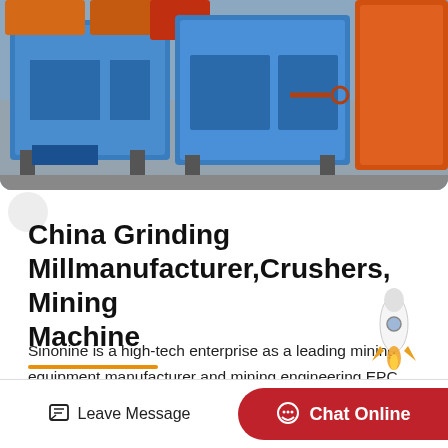[Figure (photo): Industrial mining machines (crushers/grinding mills) in blue and orange colors in a factory setting]
China Grinding Millmanufacturer,Crushers, Mining Machine
Sinonine is a high-tech enterprise as a leading mining equipment manufacturer and mining engineering EPC service provider inChina. Sinonine has a strong production capacity, its product…
Leave Message   Chat Online